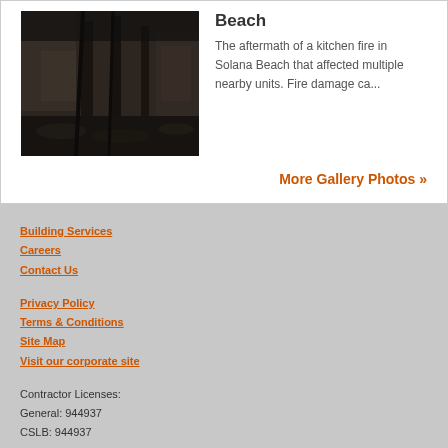[Figure (photo): Fire-damaged interior of a building, showing charred walls, debris, and structural damage from a kitchen fire in Solana Beach.]
Beach
The aftermath of a kitchen fire in Solana Beach that affected multiple nearby units. Fire damage ca...
More Gallery Photos »
Building Services
Careers
Contact Us
Privacy Policy
Terms & Conditions
Site Map
Visit our corporate site
Contractor Licenses:
General: 944937
CSLB: 944937
more info
SERVPRO of Del Mar
P: (858) 587-1722